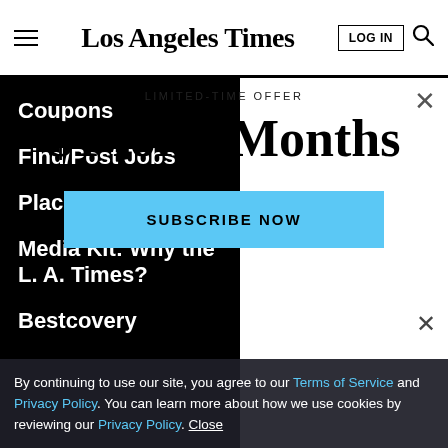Los Angeles Times
Coupons
Find/Post Jobs
Place an Ad
Media Kit: Why the L. A. Times?
Bestcovery
$1 for 6 Months
LIMITED-TIME OFFER
SUBSCRIBE NOW
By continuing to use our site, you agree to our Terms of Service and Privacy Policy. You can learn more about how we use cookies by reviewing our Privacy Policy. Close